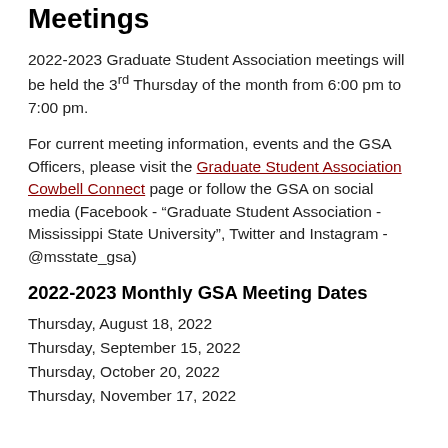Meetings
2022-2023 Graduate Student Association meetings will be held the 3rd Thursday of the month from 6:00 pm to 7:00 pm.
For current meeting information, events and the GSA Officers, please visit the Graduate Student Association Cowbell Connect page or follow the GSA on social media (Facebook - “Graduate Student Association - Mississippi State University”, Twitter and Instagram - @msstate_gsa)
2022-2023 Monthly GSA Meeting Dates
Thursday, August 18, 2022
Thursday, September 15, 2022
Thursday, October 20, 2022
Thursday, November 17, 2022